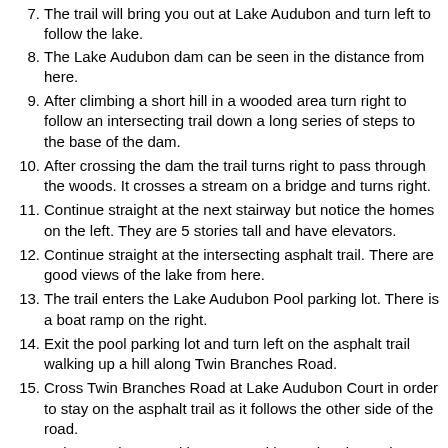7. The trail will bring you out at Lake Audubon and turn left to follow the lake.
8. The Lake Audubon dam can be seen in the distance from here.
9. After climbing a short hill in a wooded area turn right to follow an intersecting trail down a long series of steps to the base of the dam.
10. After crossing the dam the trail turns right to pass through the woods. It crosses a stream on a bridge and turns right.
11. Continue straight at the next stairway but notice the homes on the left. They are 5 stories tall and have elevators.
12. Continue straight at the intersecting asphalt trail. There are good views of the lake from here.
13. The trail enters the Lake Audubon Pool parking lot. There is a boat ramp on the right.
14. Exit the pool parking lot and turn left on the asphalt trail walking up a hill along Twin Branches Road.
15. Cross Twin Branches Road at Lake Audubon Court in order to stay on the asphalt trail as it follows the other side of the road.
16. Twin Branches Road intersects with South Lakes Drive. You can either cross to the South Lakes Village Center at the traffic light to end the walk or turn right on